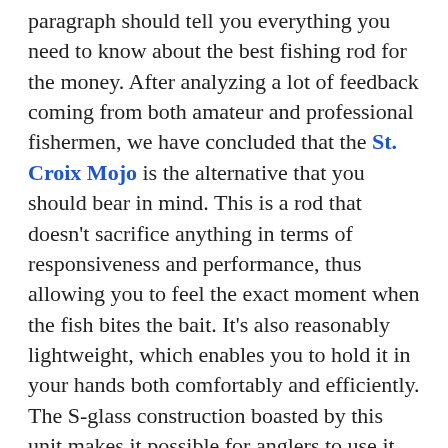paragraph should tell you everything you need to know about the best fishing rod for the money. After analyzing a lot of feedback coming from both amateur and professional fishermen, we have concluded that the St. Croix Mojo is the alternative that you should bear in mind. This is a rod that doesn't sacrifice anything in terms of responsiveness and performance, thus allowing you to feel the exact moment when the fish bites the bait. It's also reasonably lightweight, which enables you to hold it in your hands both comfortably and efficiently. The S-glass construction boasted by this unit makes it possible for anglers to use it for many seasons to come. If the St. Croix Mojo is unavailable, you should consider the Piscifun Graphite as it is a reliable alternative both in terms of performance and quality.